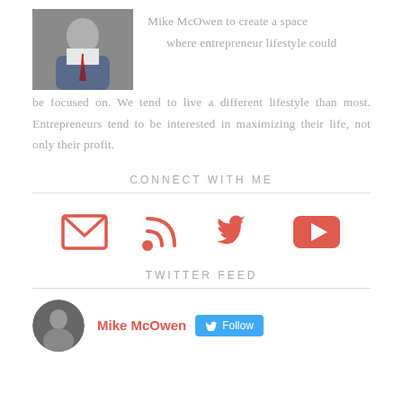[Figure (photo): Photo of Mike McOwen, a man in a blue suit and red tie]
Mike McOwen to create a space where entrepreneur lifestyle could be focused on. We tend to live a different lifestyle than most. Entrepreneurs tend to be interested in maximizing their life, not only their profit.
CONNECT WITH ME
[Figure (infographic): Social media icons: email envelope, RSS feed, Twitter bird, YouTube play button — all in coral/red color]
TWITTER FEED
[Figure (photo): Circular avatar photo of Mike McOwen in grayscale]
Mike McOwen  Follow